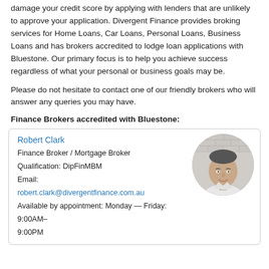damage your credit score by applying with lenders that are unlikely to approve your application. Divergent Finance provides broking services for Home Loans, Car Loans, Personal Loans, Business Loans and has brokers accredited to lodge loan applications with Bluestone. Our primary focus is to help you achieve success regardless of what your personal or business goals may be.
Please do not hesitate to contact one of our friendly brokers who will answer any queries you may have.
Finance Brokers accredited with Bluestone:
[Figure (photo): Circular black-and-white headshot of Robert Clark, a man in a light shirt, against a brick wall background.]
Robert Clark
Finance Broker / Mortgage Broker
Qualification: DipFinMBM
Email:
robert.clark@divergentfinance.com.au
Available by appointment: Monday — Friday: 9:00AM–9:00PM